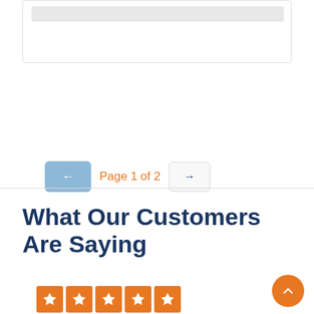[Figure (screenshot): Top portion showing a card/content box with a gray bar inside, partially visible at top of page]
Page 1 of 2
What Our Customers Are Saying
[Figure (other): Five orange star rating boxes in a row, with text 'from 126.2 reviews' below]